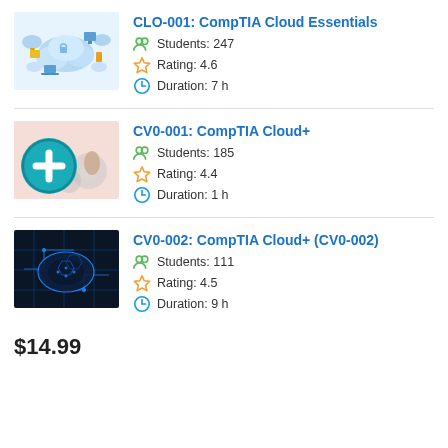CLO-001: CompTIA Cloud Essentials
Students: 247
Rating: 4.6
Duration: 7 h
CV0-001: CompTIA Cloud+
Students: 185
Rating: 4.4
Duration: 1 h
CV0-002: CompTIA Cloud+ (CV0-002)
Students: 111
Rating: 4.5
Duration: 9 h
$14.99